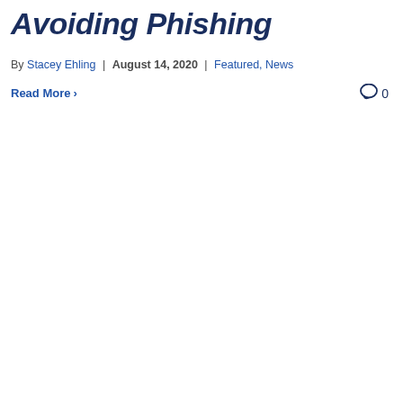Avoiding Phishing
By Stacey Ehling | August 14, 2020 | Featured, News
Read More >
0